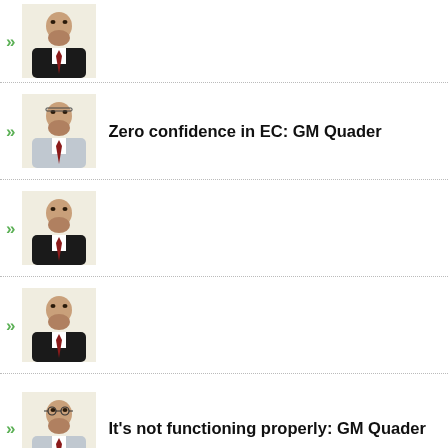[Figure (photo): Partial news item at top: portrait photo of a man in dark suit with maroon tie]
Zero confidence in EC: GM Quader
[Figure (photo): Portrait photo of GM Quader in light gray suit]
(no headline text visible)
[Figure (photo): Portrait photo of GM Quader in dark suit with maroon tie]
(no headline text visible)
[Figure (photo): Portrait photo of GM Quader in dark suit with maroon tie]
It's not functioning properly: GM Quader
[Figure (photo): Portrait photo of GM Quader in dark suit with maroon tie]
(no headline text visible)
[Figure (photo): Portrait photo of GM Quader in dark suit with maroon tie]
(partial news item at bottom - group photo thumbnail)
[Figure (photo): Partial group photo at very bottom]